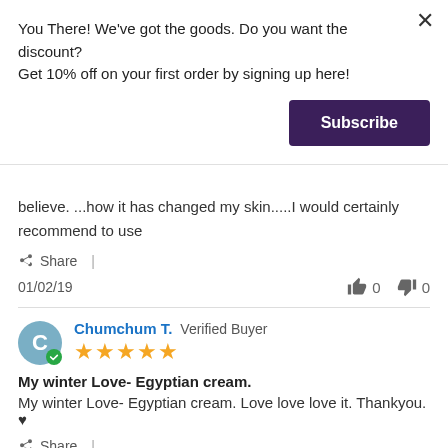You There! We've got the goods. Do you want the discount? Get 10% off on your first order by signing up here!
Subscribe
believe. ...how it has changed my skin.....I would certainly recommend to use
Share |
01/02/19  👍 0  👎 0
Chumchum T. Verified Buyer ⭐⭐⭐⭐⭐
My winter Love- Egyptian cream.
My winter Love- Egyptian cream. Love love love it. Thankyou. ♥
Share |
12/23/18  👍 0  👎 0